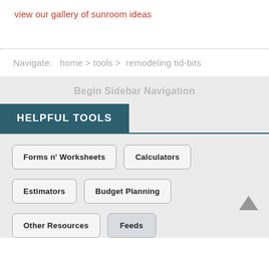view our gallery of sunroom ideas
Navigate:   home > tools > remodeling tid-bits
Begin Sidebar Navigation
HELPFUL TOOLS
Forms n' Worksheets
Calculators
Estimators
Budget Planning
Other Resources
Feeds